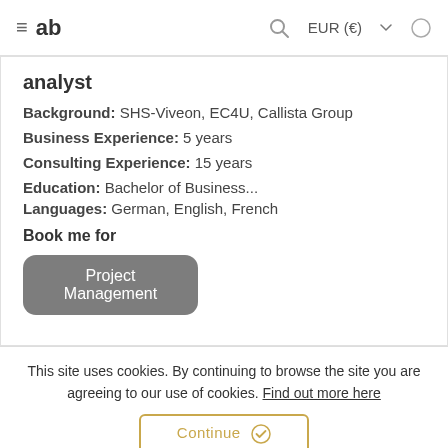≡ ab   🔍   EUR (€) ▾   ◑
analyst
Background: SHS-Viveon, EC4U, Callista Group
Business Experience: 5 years
Consulting Experience: 15 years
Education: Bachelor of Business...
Languages: German, English, French
Book me for
Project Management
This site uses cookies. By continuing to browse the site you are agreeing to our use of cookies. Find out more here
Continue ✓